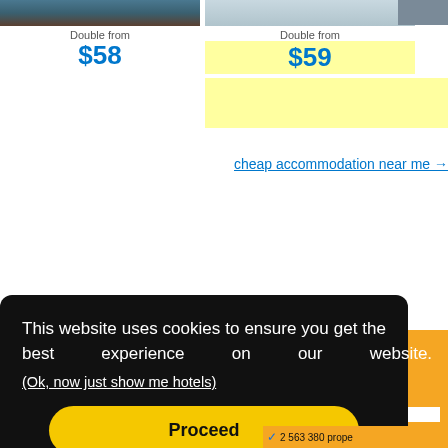Double from $58
Double from $59
cheap accommodation near me →
🔍 Find the
2,563,000+ hotels, h...
unique places to stay
Destination/Proper...
region, d...
ate
ugust '...
ate
ugust '...
, pay l...
Match
2 563 380 prope...
This website uses cookies to ensure you get the best experience on our website.
(Ok, now just show me hotels)
Proceed